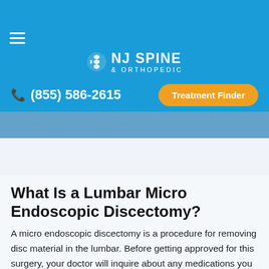NJ SPINE & ORTHOPEDIC — (855) 586-2615 — Treatment Finder
Details | Advantages | Qualifications
What Is a Lumbar Micro Endoscopic Discectomy?
A micro endoscopic discectomy is a procedure for removing disc material in the lumbar. Before getting approved for this surgery, your doctor will inquire about any medications you are taking. If you are taking any blood thinners and non-steroidal anti-inflammatory medications, you will have to